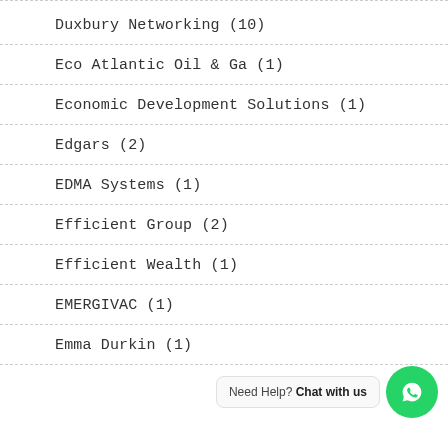Duxbury Networking (10)
Eco Atlantic Oil & Ga (1)
Economic Development Solutions (1)
Edgars (2)
EDMA Systems (1)
Efficient Group (2)
Efficient Wealth (1)
EMERGIVAC (1)
Emma Durkin (1)